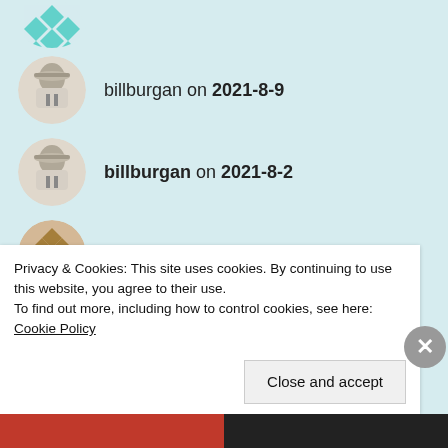billburgan on 2021-8-9
billburgan on 2021-8-2
Ruth Liu on 2021-7-3
Ruth Liu on 2021-7-2
Glory CBC on 2020-11-2
Glory CBC on 2020-10-15
Privacy & Cookies: This site uses cookies. By continuing to use this website, you agree to their use.
To find out more, including how to control cookies, see here: Cookie Policy
Close and accept